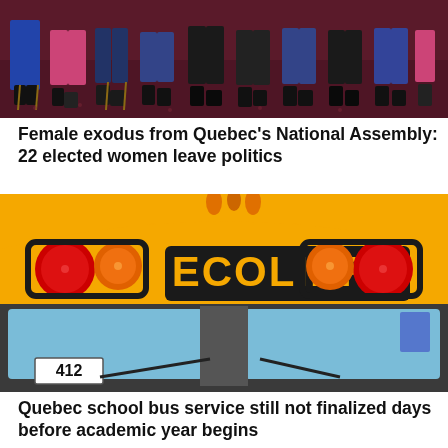[Figure (photo): Group of people seated in formal attire on chairs with a floral patterned carpet, photographed from waist down showing legs and feet]
Female exodus from Quebec's National Assembly: 22 elected women leave politics
[Figure (photo): Front view of a yellow school bus with 'ECOLIERS' written on it, showing lights on either side, and number 412 in lower left corner]
Quebec school bus service still not finalized days before academic year begins